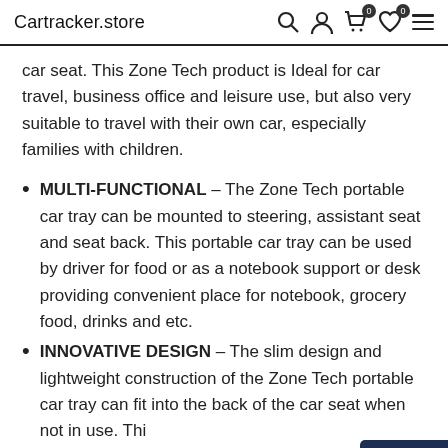Cartracker.store
car seat. This Zone Tech product is Ideal for car travel, business office and leisure use, but also very suitable to travel with their own car, especially families with children.
MULTI-FUNCTIONAL – The Zone Tech portable car tray can be mounted to steering, assistant seat and seat back. This portable car tray can be used by driver for food or as a notebook support or desk providing convenient place for notebook, grocery food, drinks and etc.
INNOVATIVE DESIGN – The slim design and lightweight construction of the Zone Tech portable car tray can fit into the back of the car seat when not in use. This portable car tray has a side drawer in which you c… portable car tray…